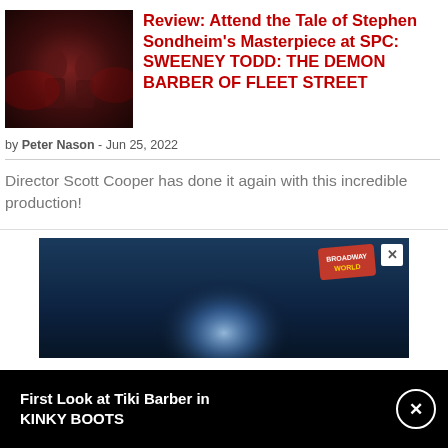[Figure (photo): A photo of performers on a dark red-lit stage from Sweeney Todd production at SPC]
Review: Attend the Tale of Stephen Sondheim's Masterpiece at SPC: SWEENEY TODD: THE DEMON BARBER OF FLEET STREET
by Peter Nason - Jun 25, 2022
Director Scott Cooper has done it again with this incredible production!
[Figure (screenshot): Advertisement banner with dark blue background, Broadway World logo, and a spotlight effect]
First Look at Tiki Barber in KINKY BOOTS